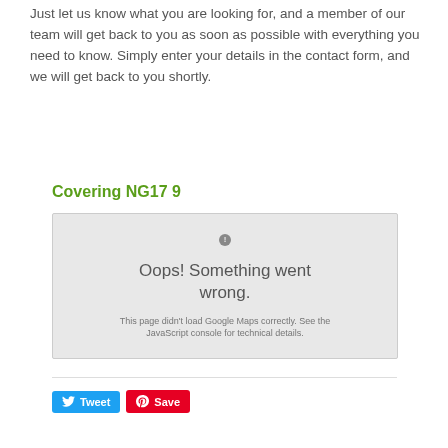Just let us know what you are looking for, and a member of our team will get back to you as soon as possible with everything you need to know. Simply enter your details in the contact form, and we will get back to you shortly.
Covering NG17 9
[Figure (other): Google Maps error panel showing a gray background with a circular exclamation mark icon, the text 'Oops! Something went wrong.' and 'This page didn't load Google Maps correctly. See the JavaScript console for technical details.']
[Figure (other): Social sharing buttons: a blue Tweet button with Twitter bird icon and a red Save button with Pinterest icon]